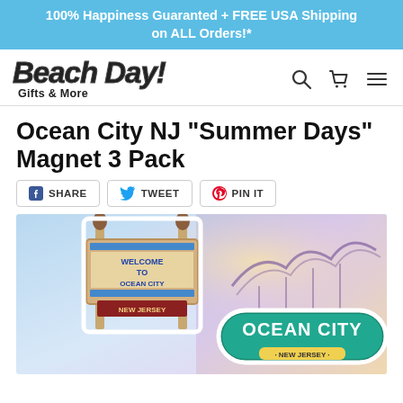100% Happiness Guaranted + FREE USA Shipping on ALL Orders!*
[Figure (logo): Beach Day! Gifts & More logo with stylized text and shopping cart, search, and menu icons]
Ocean City NJ "Summer Days" Magnet 3 Pack
SHARE
TWEET
PIN IT
[Figure (photo): Product photo showing Ocean City NJ Summer Days magnet 3 pack, featuring Welcome to Ocean City New Jersey sign magnet and Ocean City New Jersey teal sign with roller coaster magnet]